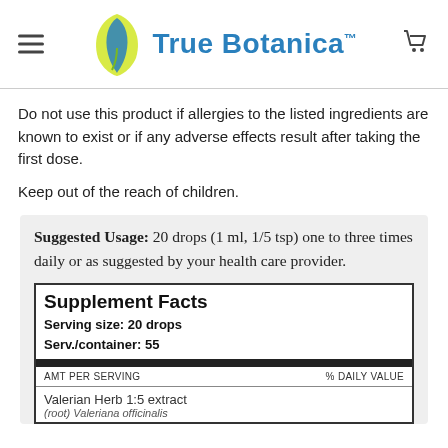True Botanica™
Do not use this product if allergies to the listed ingredients are known to exist or if any adverse effects result after taking the first dose.
Keep out of the reach of children.
Suggested Usage: 20 drops (1 ml, 1/5 tsp) one to three times daily or as suggested by your health care provider.
| AMT PER SERVING | % DAILY VALUE |
| --- | --- |
| Valerian Herb 1:5 extract |  |